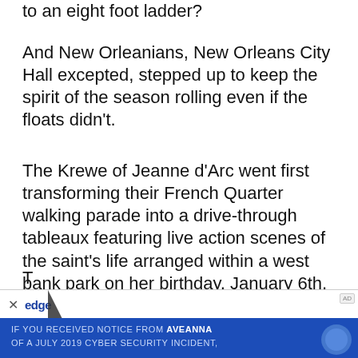to an eight foot ladder?
And New Orleanians, New Orleans City Hall excepted, stepped up to keep the spirit of the season rolling even if the floats didn't.
The Krewe of Jeanne d’Arc went first transforming their French Quarter walking parade into a drive-through tableaux featuring live action scenes of the saint’s life arranged within a west bank park on her birthday, January 6th, AKA the Feast of the Epiphany, AKA Kings’ Day, AKA Twelfth Night.
[Figure (screenshot): Advertisement banner at bottom of page. Shows 'edge' logo with close button, blue background with text: 'IF YOU RECEIVED NOTICE FROM AVEANNA OF A JULY 2019 CYBER SECURITY INCIDENT,']
T... r...d